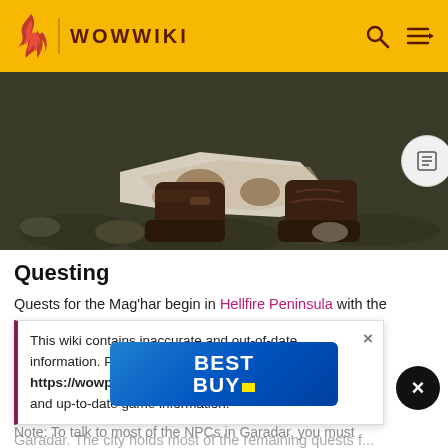WOWWIKI
[Figure (screenshot): In-game screenshot showing feet/boots of a character in World of Warcraft, standing on a rocky ground with white/brown cloth near the feet]
Questing
Quests for the Mag'har begin in Hellfire Peninsula with the
This wiki contains inaccurate and out-of-date information. Please head over to https://wowpedia.fandom.com for more accurate and up-to-date game information.
Garadar. The city holds most of the remaining quests f... will rew...
[Figure (other): Best Buy advertisement banner with blue gradient background]
Note: To talk to most of the NPCs in Garadar, you must